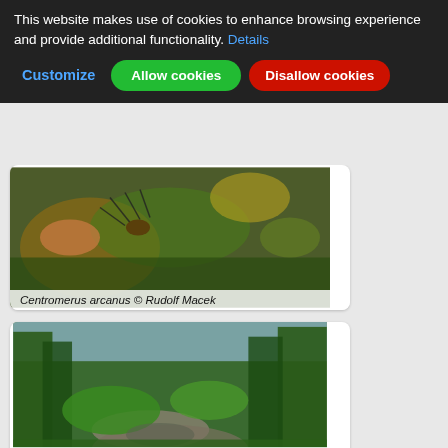This website makes use of cookies to enhance browsing experience and provide additional functionality. Details
Customize
Allow cookies
Disallow cookies
[Figure (photo): Close-up photo of spider (Centromerus arcanus) on moss/plant debris]
Centromerus arcanus © Rudolf Macek
[Figure (photo): Forest path with mossy rocks and green vegetation (Centromerus arcanus habitat)]
Centromerus arcanus © Rudolf Macek
[Figure (photo): Autumn forest landscape with lake and yellow/green trees on hillside (Centromerus arcanus habitat)]
Centromerus arcanus © Rudolf Macek